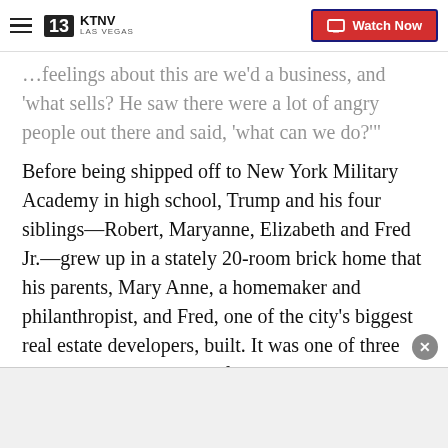KTNV Las Vegas — Watch Now
...feelings about this are we'd a business, and 'what sells? He saw there were a lot of angry people out there and said, ‘what can we do?’”
Before being shipped off to New York Military Academy in high school, Trump and his four siblings—Robert, Maryanne, Elizabeth and Fred Jr.—grew up in a stately 20-room brick home that his parents, Mary Anne, a homemaker and philanthropist, and Fred, one of the city’s biggest real estate developers, built. It was one of three houses where the Trump family live in Jamaica Estates, and it’s where Trump’s parents lived